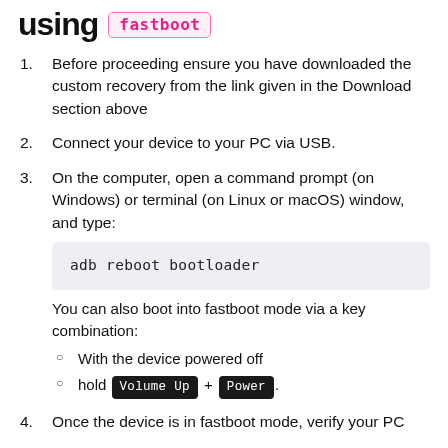using fastboot
Before proceeding ensure you have downloaded the custom recovery from the link given in the Download section above
Connect your device to your PC via USB.
On the computer, open a command prompt (on Windows) or terminal (on Linux or macOS) window, and type:
adb reboot bootloader
You can also boot into fastboot mode via a key combination:
With the device powered off
hold Volume Up + Power .
Once the device is in fastboot mode, verify your PC